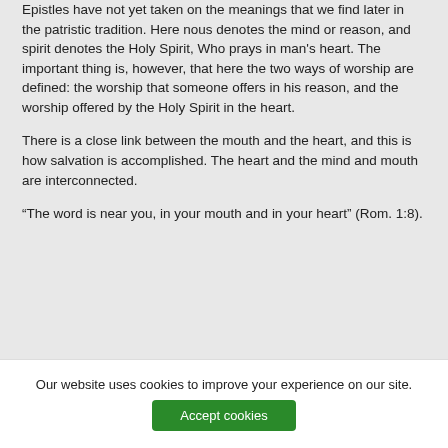The terms spirit and nous in this passage from the Epistles have not yet taken on the meanings that we find later in the patristic tradition. Here nous denotes the mind or reason, and spirit denotes the Holy Spirit, Who prays in man's heart. The important thing is, however, that here the two ways of worship are defined: the worship that someone offers in his reason, and the worship offered by the Holy Spirit in the heart.
There is a close link between the mouth and the heart, and this is how salvation is accomplished. The heart and the mind and mouth are interconnected.
“The word is near you, in your mouth and in your heart” (Rom. 1:8).
Our website uses cookies to improve your experience on our site.
Accept cookies